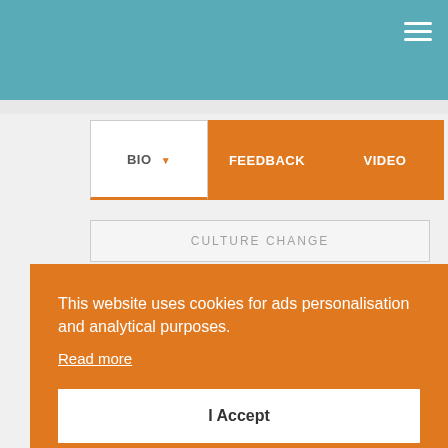BIO | FEEDBACK | VIDEO
CULTURE CHANGE
This website uses cookies for ads personalisation and analytical purposes.
Read more
I Accept
Development professional with over 20